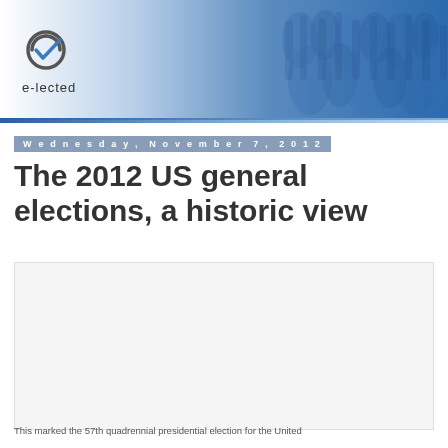e-lected
Wednesday, November 7, 2012
The 2012 US general elections, a historic view
[Figure (photo): Large rectangular image placeholder with light gray background, appearing to show an empty or loading image area]
This marked the 57th quadrennial presidential election for the United